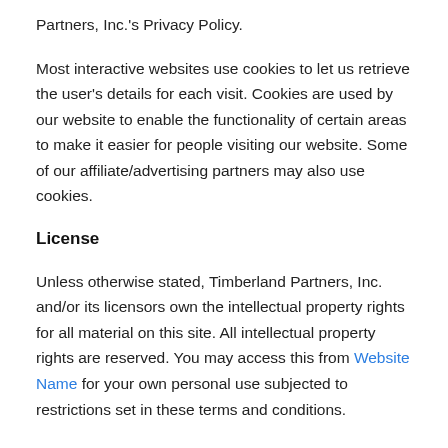Partners, Inc.'s Privacy Policy.
Most interactive websites use cookies to let us retrieve the user's details for each visit. Cookies are used by our website to enable the functionality of certain areas to make it easier for people visiting our website. Some of our affiliate/advertising partners may also use cookies.
License
Unless otherwise stated, Timberland Partners, Inc. and/or its licensors own the intellectual property rights for all material on this site. All intellectual property rights are reserved. You may access this from Website Name for your own personal use subjected to restrictions set in these terms and conditions.
You must not: